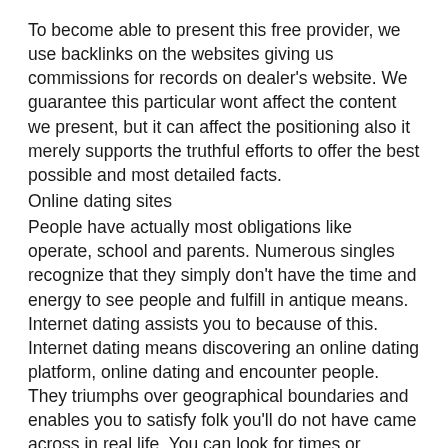To become able to present this free provider, we use backlinks on the websites giving us commissions for records on dealer's website. We guarantee this particular wont affect the content we present, but it can affect the positioning also it merely supports the truthful efforts to offer the best possible and most detailed facts.
Online dating sites
People have actually most obligations like operate, school and parents. Numerous singles recognize that they simply don't have the time and energy to see people and fulfill in antique means. Internet dating assists you to because of this. Internet dating means discovering an online dating platform, online dating and encounter people. They triumphs over geographical boundaries and enables you to satisfy folk you'll do not have came across in real life. You can look for times or relationships from home. Considering that the entire world was linked via the internet, depends upon is truly on hand.